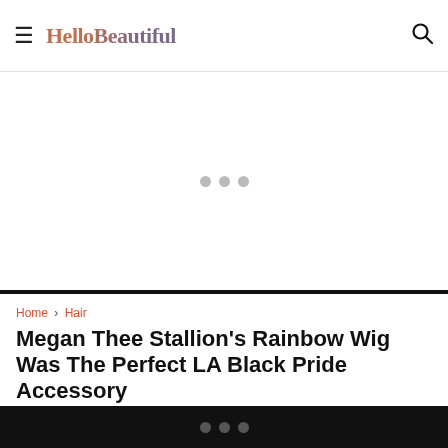HelloBeautiful
[Figure (other): Advertisement loading placeholder with three gray dots]
Home › Hair
Megan Thee Stallion's Rainbow Wig Was The Perfect LA Black Pride Accessory
The "Savage" rapper was clear at Sunday's event: All Black...
[Figure (other): Bottom bar loading indicator with three gray dots on black background]